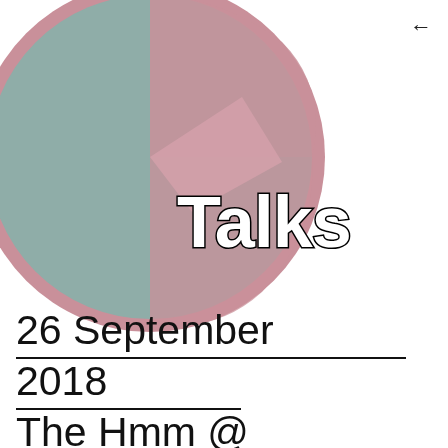[Figure (illustration): A large circular logo with muted pink border, containing a muted teal/sage green and pink color-blocked design (similar to a pie chart with two main sections), and the word 'Talks' written in bold white text with black outline, partially cut off on the left.]
26 September 2018 The Hmm @